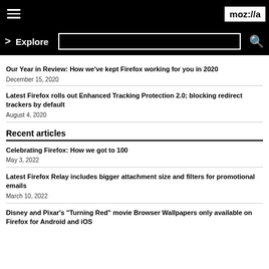moz://a — Explore
Our Year in Review: How we've kept Firefox working for you in 2020
December 15, 2020
Latest Firefox rolls out Enhanced Tracking Protection 2.0; blocking redirect trackers by default
August 4, 2020
Recent articles
Celebrating Firefox: How we got to 100
May 3, 2022
Latest Firefox Relay includes bigger attachment size and filters for promotional emails
March 10, 2022
Disney and Pixar's "Turning Red" movie Browser Wallpapers only available on Firefox for Android and iOS